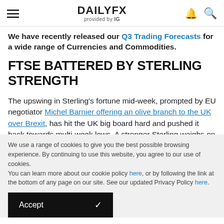DAILYFX provided by IG
We have recently released our Q3 Trading Forecasts for a wide range of Currencies and Commodities.
FTSE BATTERED BY STERLING STRENGTH
The upswing in Sterling's fortune mid-week, prompted by EU negotiator Michel Barnier offering an olive branch to the UK over Brexit, has hit the UK big board hard and pushed it back towards multi-week lows. A stronger Sterling weighs on the heavyweight exporters in the FTSE 100, crimping
We use a range of cookies to give you the best possible browsing experience. By continuing to use this website, you agree to our use of cookies.
You can learn more about our cookie policy here, or by following the link at the bottom of any page on our site. See our updated Privacy Policy here.